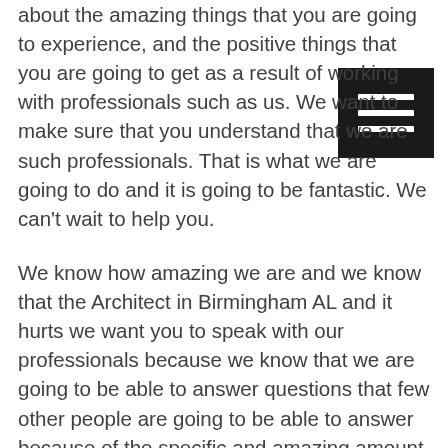about the amazing things that you are going to experience, and the positive things that you are going to get as a result of working with professionals such as us. We want to make sure that you understand that we are such professionals. That is what we are going to do and it is going to be fantastic. We can't wait to help you.
[Figure (other): Hamburger menu icon — three horizontal white lines on a dark/black square background]
We know how amazing we are and we know that the Architect in Birmingham AL and it hurts we want you to speak with our professionals because we know that we are going to be able to answer questions that few other people are going to be able to answer because of the specific and amazing amount of information that we have.'s we are going to continue to do the best work that we can and we know that you are going to appreciate this